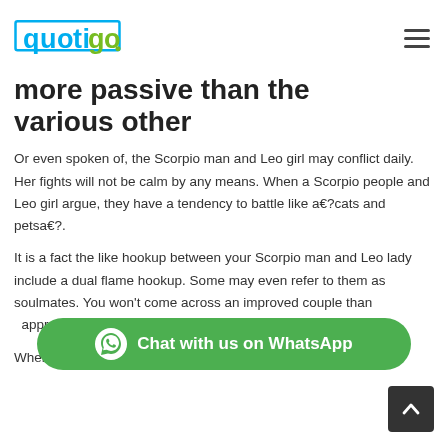quotigo
more passive than the various other
Or even spoken of, the Scorpio man and Leo girl may conflict daily. Her fights will not be calm by any means. When a Scorpio people and Leo girl argue, they have a tendency to battle like a€?cats and petsa€?.
It is a fact the like hookup between your Scorpio man and Leo lady include a dual flame hookup. Some may even refer to them as soulmates. You won't come across an improved couple than… appreciation…
[Figure (other): Green WhatsApp chat button with WhatsApp logo icon and text 'Chat with us on WhatsApp']
When the Scorpio guy believes which he get aside with…